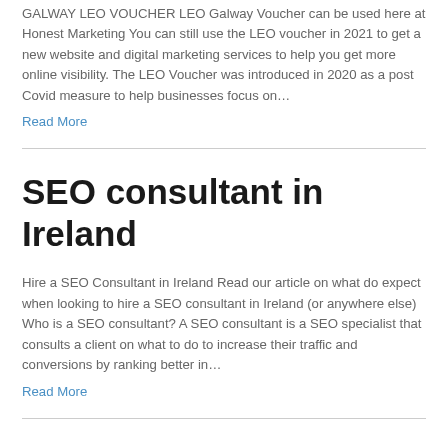GALWAY LEO VOUCHER LEO Galway Voucher can be used here at Honest Marketing You can still use the LEO voucher in 2021 to get a new website and digital marketing services to help you get more online visibility. The LEO Voucher was introduced in 2020 as a post Covid measure to help businesses focus on…
Read More
SEO consultant in Ireland
Hire a SEO Consultant in Ireland Read our article on what do expect when looking to hire a SEO consultant in Ireland (or anywhere else) Who is a SEO consultant? A SEO consultant is a SEO specialist that consults a client on what to do to increase their traffic and conversions by ranking better in…
Read More